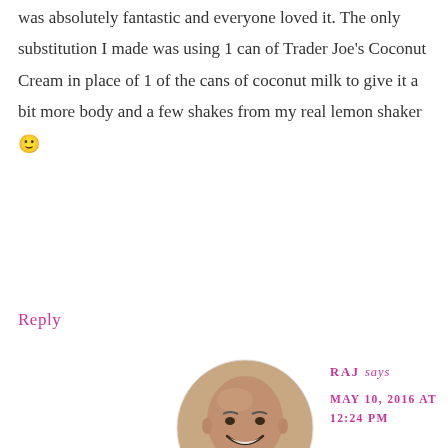was absolutely fantastic and everyone loved it. The only substitution I made was using 1 can of Trader Joe's Coconut Cream in place of 1 of the cans of coconut milk to give it a bit more body and a few shakes from my real lemon shaker 🙂
Reply
[Figure (photo): Headshot of a bald man smiling, wearing a black shirt, circular/oval crop]
RAJ says MAY 10, 2016 AT 12:24 PM